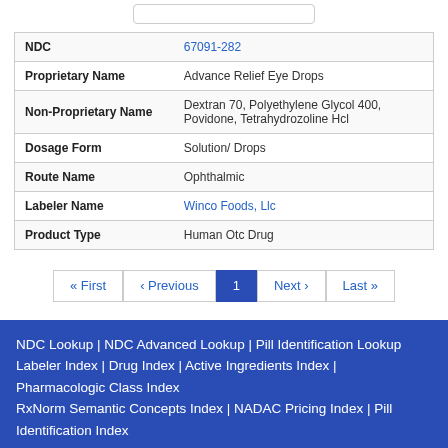| Field | Value |
| --- | --- |
| NDC | 67091-282 |
| Proprietary Name | Advance Relief Eye Drops |
| Non-Proprietary Name | Dextran 70, Polyethylene Glycol 400, Povidone, Tetrahydrozoline Hcl |
| Dosage Form | Solution/ Drops |
| Route Name | Ophthalmic |
| Labeler Name | Winco Foods, Llc |
| Product Type | Human Otc Drug |
« First  < Previous  1  Next >  Last »
NDC Lookup | NDC Advanced Lookup | Pill Identification Lookup Labeler Index | Drug Index | Active Ingredients Index | Pharmacologic Class Index RxNorm Semantic Concepts Index | NADAC Pricing Index | Pill Identification Index